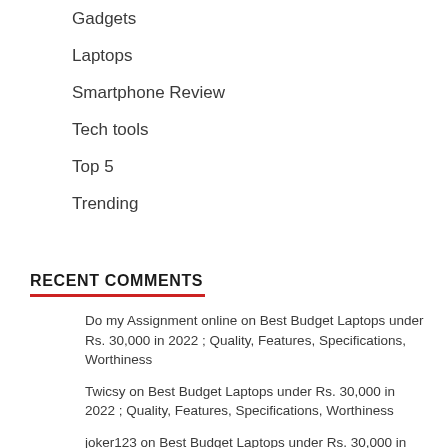Gadgets
Laptops
Smartphone Review
Tech tools
Top 5
Trending
RECENT COMMENTS
Do my Assignment online on Best Budget Laptops under Rs. 30,000 in 2022 ; Quality, Features, Specifications, Worthiness
Twicsy on Best Budget Laptops under Rs. 30,000 in 2022 ; Quality, Features, Specifications, Worthiness
joker123 on Best Budget Laptops under Rs. 30,000 in 2022 ; Quality, Features, Specifications, Worthiness